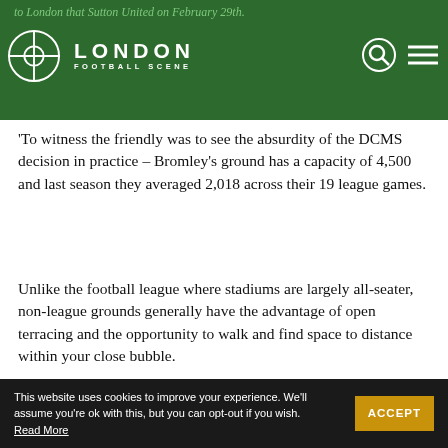to London that Sutton United on February 29th.
'To witness the friendly was to see the absurdity of the DCMS decision in practice – Bromley's ground has a capacity of 4,500 and last season they averaged 2,018 across their 19 league games.
Unlike the football league where stadiums are largely all-seater, non-league grounds generally have the advantage of open terracing and the opportunity to walk and find space to distance within your close bubble.
While in attendance at no point did I ath  nd me feel uncomfortably  ded.
This website uses cookies to improve your experience. We'll assume you're ok with this, but you can opt-out if you wish. Read More